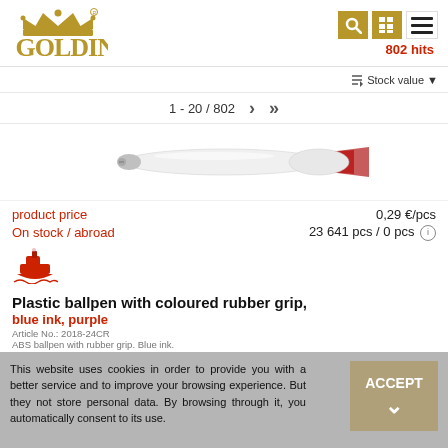[Figure (logo): Goldino logo with crown icon in gold/brown color]
[Figure (screenshot): Header icons: search, grid, hamburger menu; 802 hits label in red]
Stock value ▼
1 - 20 / 802
[Figure (photo): White and red plastic ballpen product image]
product price
0,29 €/pcs
On stock / abroad
23 641 pcs / 0 pcs
[Figure (illustration): Red ship/boat delivery icon]
Plastic ballpen with coloured rubber grip,
blue ink, purple
Article No.: 2018-24CR
ABS ballpen with rubber grip. Blue ink.
This website uses cookies in order to provide you with a better service and to improve your browsing experience. But they not store personal data. By browsing through it, you automatically consent to its use.
ACCEPT